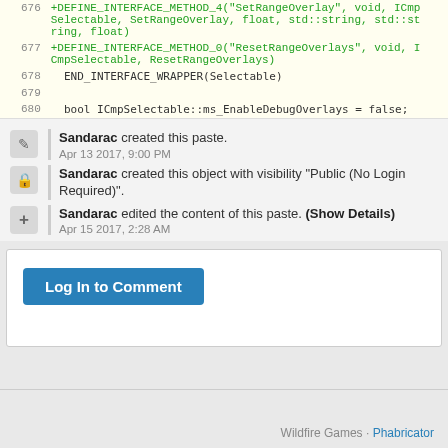| line | code |
| --- | --- |
| 676 | +DEFINE_INTERFACE_METHOD_4("SetRangeOverlay", void, ICmpSelectable, SetRangeOverlay, float, std::string, std::string, float) |
| 677 | +DEFINE_INTERFACE_METHOD_0("ResetRangeOverlays", void, ICmpSelectable, ResetRangeOverlays) |
| 678 |   END_INTERFACE_WRAPPER(Selectable) |
| 679 |  |
| 680 |   bool ICmpSelectable::ms_EnableDebugOverlays = false; |
Sandarac created this paste. Apr 13 2017, 9:00 PM
Sandarac created this object with visibility "Public (No Login Required)".
Sandarac edited the content of this paste. (Show Details) Apr 15 2017, 2:28 AM
Log In to Comment
Wildfire Games · Phabricator